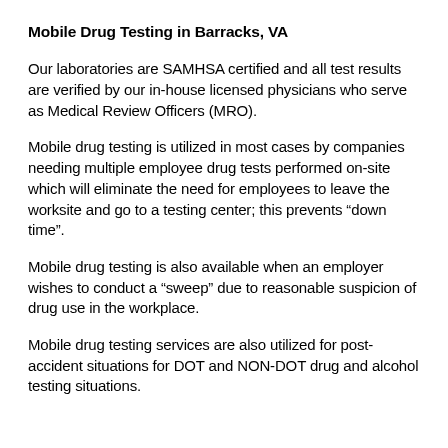Mobile Drug Testing in Barracks, VA
Our laboratories are SAMHSA certified and all test results are verified by our in-house licensed physicians who serve as Medical Review Officers (MRO).
Mobile drug testing is utilized in most cases by companies needing multiple employee drug tests performed on-site which will eliminate the need for employees to leave the worksite and go to a testing center; this prevents “down time”.
Mobile drug testing is also available when an employer wishes to conduct a “sweep” due to reasonable suspicion of drug use in the workplace.
Mobile drug testing services are also utilized for post-accident situations for DOT and NON-DOT drug and alcohol testing situations.